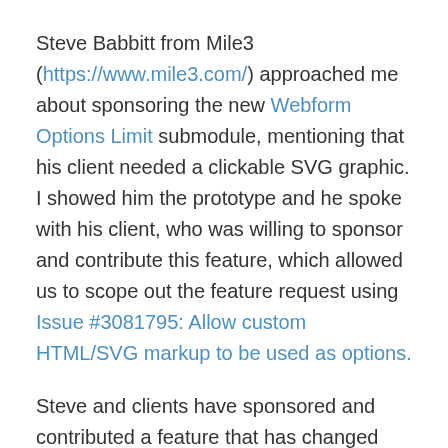Steve Babbitt from Mile3 (https://www.mile3.com/) approached me about sponsoring the new Webform Options Limit submodule, mentioning that his client needed a clickable SVG graphic. I showed him the prototype and he spoke with his client, who was willing to sponsor and contribute this feature, which allowed us to scope out the feature request using Issue #3081795: Allow custom HTML/SVG markup to be used as options.
Steve and clients have sponsored and contributed a feature that has changed what is possible using the Webform module. This